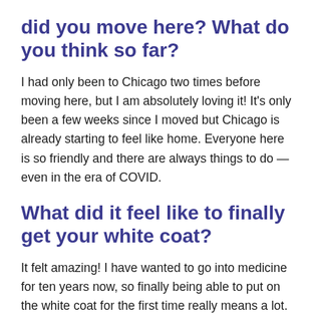did you move here? What do you think so far?
I had only been to Chicago two times before moving here, but I am absolutely loving it! It's only been a few weeks since I moved but Chicago is already starting to feel like home. Everyone here is so friendly and there are always things to do — even in the era of COVID.
What did it feel like to finally get your white coat?
It felt amazing! I have wanted to go into medicine for ten years now, so finally being able to put on the white coat for the first time really means a lot.